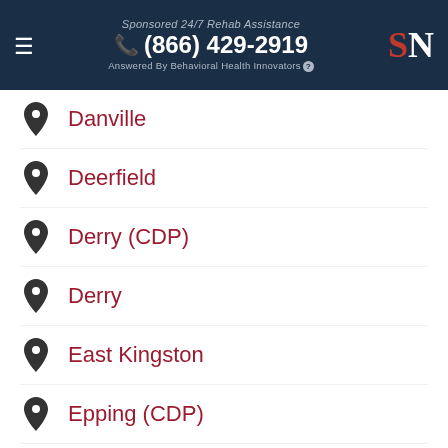Sponsored 24/7 Rehab Assistance (866) 429-2919 Answered By Behavioral Health Innovators
Danville
Deerfield
Derry (CDP)
Derry
East Kingston
Epping (CDP)
Epping
Exeter (CDP)
Exeter
Fremont
Greenland